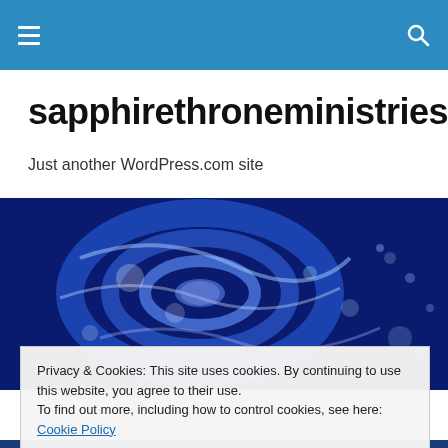Navigation bar with hamburger menu and search icon
sapphirethroneministries
Just another WordPress.com site
[Figure (photo): Blue swirling water abstract background image, deep blue tones with white highlights]
Privacy & Cookies: This site uses cookies. By continuing to use this website, you agree to their use.
To find out more, including how to control cookies, see here: Cookie Policy
Close and accept
[Figure (photo): Partial bottom strip showing another image with blue tones and Asian characters]